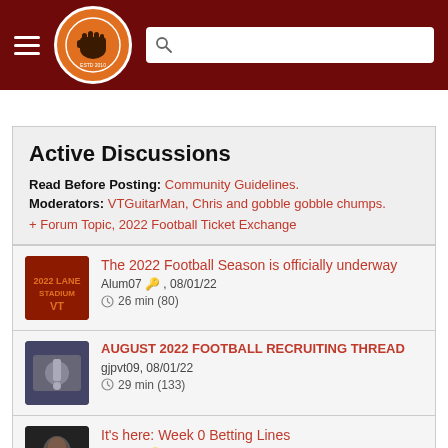The Key Play - site header with logo and search bar
Active Discussions
Read Before Posting: Community Guidelines.
Moderators: VTGuitarMan, Chris and gobble gobble chumps.
+ Forum Topic, 2022 Football Ticket Exchange
The 2022 Football Season is officially underway
Alum07 🔑, 08/01/22
⏱ 26 min (80)
AUGUST 2022 FOOTBALL RECRUITING THREAD
gjpvt09, 08/01/22
⏱ 29 min (133)
It's here: Week 0 Betting Lines
heuplek 🔑, 08/24/22